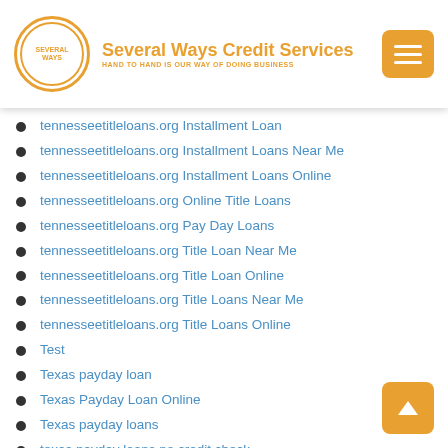Several Ways Credit Services — HAND TO HAND IS OUR WAY OF DOING BUSINESS
tennesseetitleloans.org Installment Loan
tennesseetitleloans.org Installment Loans Near Me
tennesseetitleloans.org Installment Loans Online
tennesseetitleloans.org Online Title Loans
tennesseetitleloans.org Pay Day Loans
tennesseetitleloans.org Title Loan Near Me
tennesseetitleloans.org Title Loan Online
tennesseetitleloans.org Title Loans Near Me
tennesseetitleloans.org Title Loans Online
Test
Texas payday loan
Texas Payday Loan Online
Texas payday loans
texas payday loans no credit check
Texas Payday Loans Online
Texas title loans near me
Text Payday Loan
tgpersonals review
tgpersonals sign in